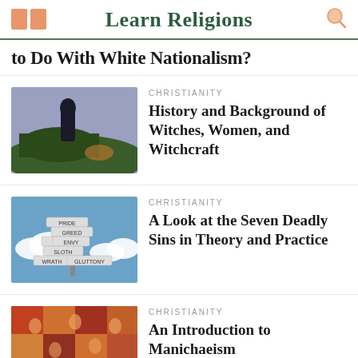Learn Religions
to Do With White Nationalism?
[Figure (photo): Dark statue of a figure on a hill with green hedges and a purple sky]
CHRISTIANITY
History and Background of Witches, Women, and Witchcraft
[Figure (photo): A signpost with multiple signs reading Pride, Greed, Lust, Envy, Sloth, Wrath, Gluttony against a blue sky]
CHRISTIANITY
A Look at the Seven Deadly Sins in Theory and Practice
[Figure (photo): Medieval religious painting with colorful figures]
CHRISTIANITY
An Introduction to Manichaeism